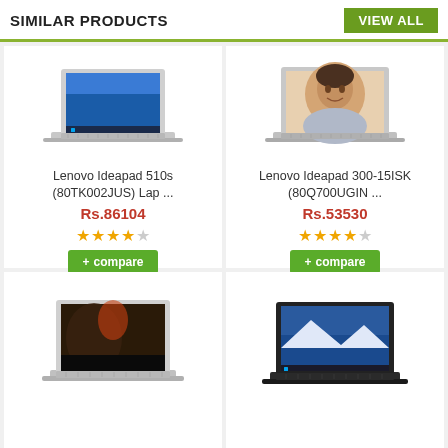SIMILAR PRODUCTS
VIEW ALL
[Figure (photo): Lenovo Ideapad 510s laptop product photo showing open laptop with Windows 10 desktop]
Lenovo Ideapad 510s (80TK002JUS) Lap ...
Rs.86104
4 out of 5 stars rating
+ compare
[Figure (photo): Lenovo Ideapad 300-15ISK laptop product photo showing open laptop with man's face on screen]
Lenovo Ideapad 300-15ISK (80Q700UGIN ...
Rs.53530
4 out of 5 stars rating
+ compare
[Figure (photo): Lenovo laptop product photo showing open laptop with dark/fantasy wallpaper]
[Figure (photo): Lenovo laptop product photo showing dark colored laptop with Windows 10 desktop]